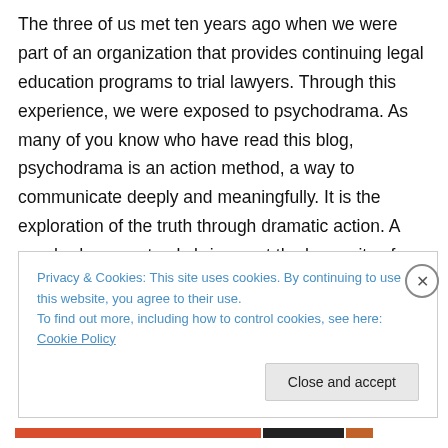The three of us met ten years ago when we were part of an organization that provides continuing legal education programs to trial lawyers. Through this experience, we were exposed to psychodrama. As many of you know who have read this blog, psychodrama is an action method, a way to communicate deeply and meaningfully. It is the exploration of the truth through dramatic action. A psychodrama not only brings out the humanity of people, but also the universal stories and truths that connect us all.
Privacy & Cookies: This site uses cookies. By continuing to use this website, you agree to their use. To find out more, including how to control cookies, see here: Cookie Policy